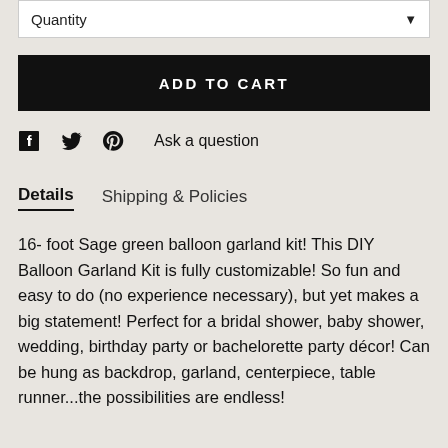Quantity
ADD TO CART
Ask a question
Details   Shipping & Policies
16- foot Sage green balloon garland kit! This DIY Balloon Garland Kit is fully customizable! So fun and easy to do (no experience necessary), but yet makes a big statement! Perfect for a bridal shower, baby shower, wedding, birthday party or bachelorette party décor! Can be hung as backdrop, garland, centerpiece, table runner...the possibilities are endless!